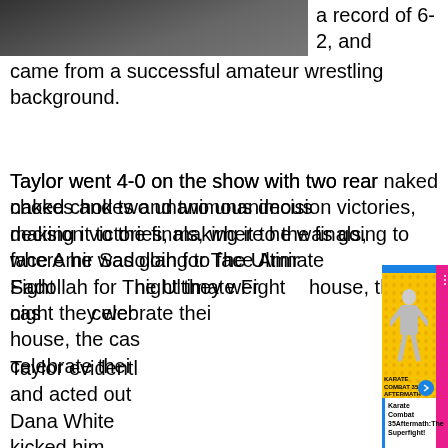[Figure (photo): Partial photo of a person at top left, cropped]
a record of 6-2, and came from a successful amateur wrestling background.
Taylor went 4-0 on the show with two rear naked chokes and two unanimous decision victories, making it to the finals, where he was going to face Amir Sadollah for The Ultimate Fight night they were house, the cast celebrate their
[Figure (screenshot): Karate Combat 35 Aftermath: The Superfight! video thumbnail overlay card showing a fighter with arms raised on a yellow/blue/pink background, with caption box reading 'Karate Combat 35Aftermath:The Superfight!']
Taylor evidently and acted out Dana White kicked him